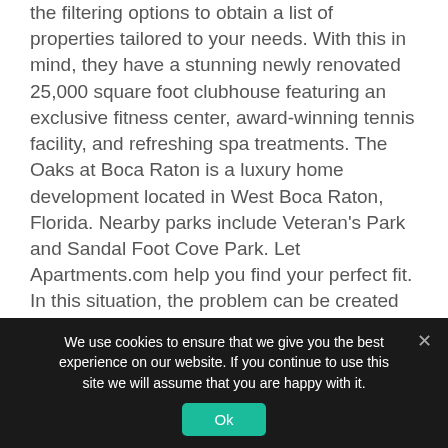the filtering options to obtain a list of properties tailored to your needs. With this in mind, they have a stunning newly renovated 25,000 square foot clubhouse featuring an exclusive fitness center, award-winning tennis facility, and refreshing spa treatments. The Oaks at Boca Raton is a luxury home development located in West Boca Raton, Florida. Nearby parks include Veteran's Park and Sandal Foot Cove Park. Let Apartments.com help you find your perfect fit. In this situation, the problem can be created by the people who complained about the problem. Your perfect apartment home in Boca Raton is here at Arbor
We use cookies to ensure that we give you the best experience on our website. If you continue to use this site we will assume that you are happy with it.
Ok